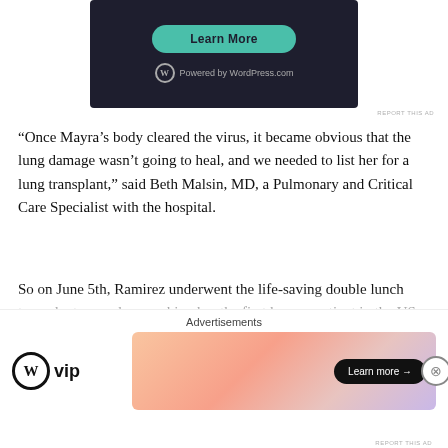[Figure (screenshot): Dark-themed advertisement banner with a teal 'Learn More' button and WordPress.com branding at the bottom]
“Once Mayra’s body cleared the virus, it became obvious that the lung damage wasn’t going to heal, and we needed to list her for a lung transplant,” said Beth Malsin, MD, a Pulmonary and Critical Care Specialist with the hospital.
So on June 5th, Ramirez underwent the life-saving double lunch transplant procedure, making her the first known patient in the US to receive such a transplant after surviving COVID-19. She was discharged from the hospital on July 8th, but has continued
[Figure (screenshot): Advertisement banner: WordPress VIP logo on left, colorful gradient banner with 'Learn more' button on right]